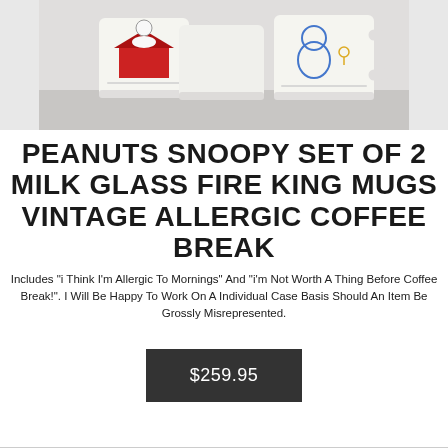[Figure (photo): Two white milk glass Fire King mugs with Peanuts Snoopy characters. Left mug shows Snoopy on his red doghouse, right mug shows Snoopy and Woodstock.]
PEANUTS SNOOPY SET OF 2 MILK GLASS FIRE KING MUGS VINTAGE ALLERGIC COFFEE BREAK
Includes "i Think I'm Allergic To Mornings" And "i'm Not Worth A Thing Before Coffee Break!". I Will Be Happy To Work On A Individual Case Basis Should An Item Be Grossly Misrepresented.
$259.95